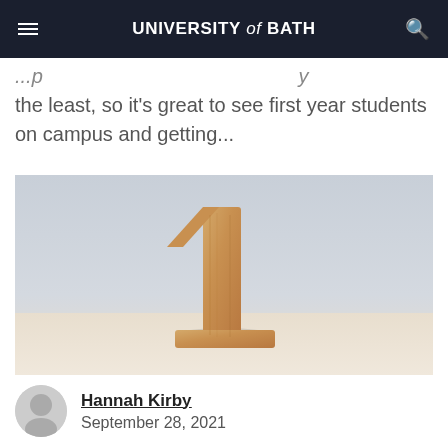UNIVERSITY of BATH
the least, so it's great to see first year students on campus and getting...
[Figure (photo): Wooden number 1 standing upright on a light surface against a soft grey-blue background]
Hannah Kirby
September 28, 2021